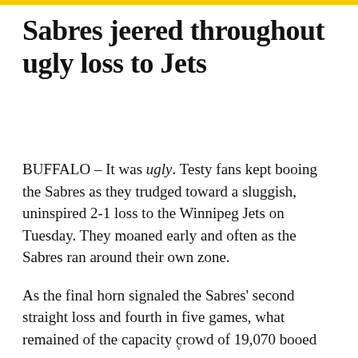Sabres jeered throughout ugly loss to Jets
BUFFALO – It was ugly. Testy fans kept booing the Sabres as they trudged toward a sluggish, uninspired 2-1 loss to the Winnipeg Jets on Tuesday. They moaned early and often as the Sabres ran around their own zone.
As the final horn signaled the Sabres' second straight loss and fourth in five games, what remained of the capacity crowd of 19,070 booed